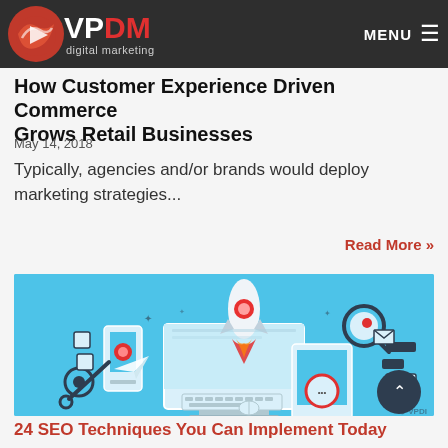VPDM digital marketing — MENU
How Customer Experience Driven Commerce Grows Retail Businesses
May 14, 2018
Typically, agencies and/or brands would deploy marketing strategies...
Read More »
[Figure (illustration): Digital marketing illustration showing a rocket launching from a computer monitor surrounded by mobile devices, SEO icons, gears, arrows, and other digital marketing symbols on a light blue background.]
24 SEO Techniques You Can Implement Today